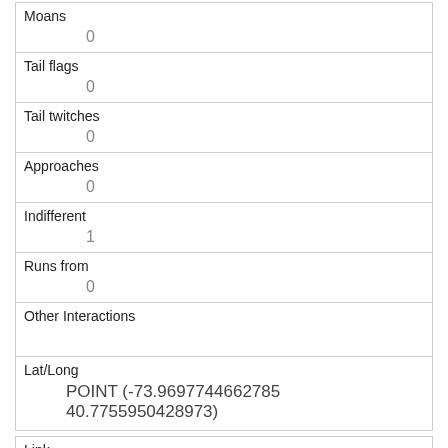| Field | Value |
| --- | --- |
| Moans | 0 |
| Tail flags | 0 |
| Tail twitches | 0 |
| Approaches | 0 |
| Indifferent | 1 |
| Runs from | 0 |
| Other Interactions |  |
| Lat/Long | POINT (-73.9697744662785 40.7755950428973) |
| Field | Value |
| --- | --- |
| Link | 1513 |
| rowid | 1513 |